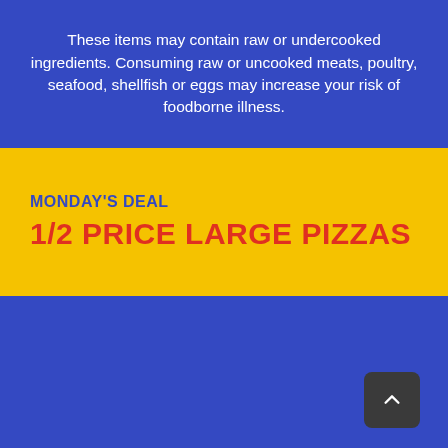These items may contain raw or undercooked ingredients. Consuming raw or uncooked meats, poultry, seafood, shellfish or eggs may increase your risk of foodborne illness.
MONDAY'S DEAL
1/2 PRICE LARGE PIZZAS